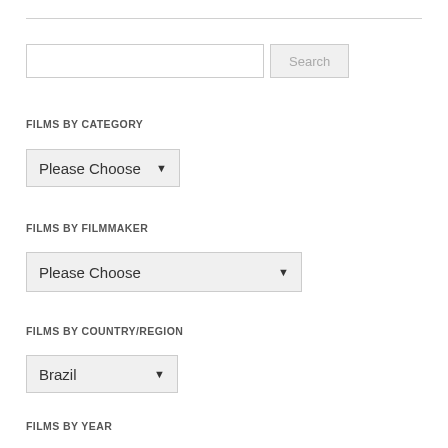[Figure (screenshot): Search input box with Search button]
FILMS BY CATEGORY
[Figure (screenshot): Dropdown selector showing Please Choose for Films by Category]
FILMS BY FILMMAKER
[Figure (screenshot): Dropdown selector showing Please Choose for Films by Filmmaker]
FILMS BY COUNTRY/REGION
[Figure (screenshot): Dropdown selector showing Brazil for Films by Country/Region]
FILMS BY YEAR